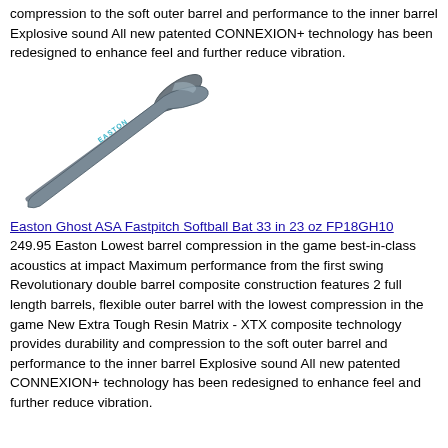compression to the soft outer barrel and performance to the inner barrel Explosive sound All new patented CONNEXION+ technology has been redesigned to enhance feel and further reduce vibration.
[Figure (photo): Easton Ghost ASA Fastpitch Softball Bat at an angle, dark gray/silver colored bat]
Easton Ghost ASA Fastpitch Softball Bat 33 in 23 oz FP18GH10 249.95 Easton Lowest barrel compression in the game best-in-class acoustics at impact Maximum performance from the first swing Revolutionary double barrel composite construction features 2 full length barrels, flexible outer barrel with the lowest compression in the game New Extra Tough Resin Matrix - XTX composite technology provides durability and compression to the soft outer barrel and performance to the inner barrel Explosive sound All new patented CONNEXION+ technology has been redesigned to enhance feel and further reduce vibration.